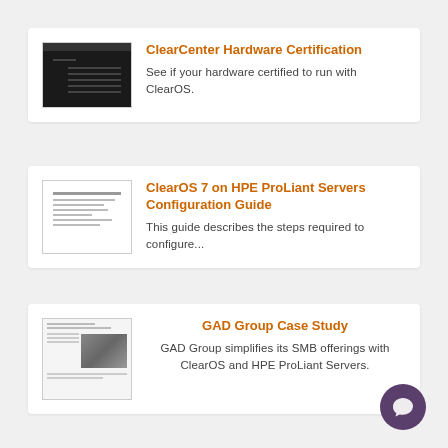[Figure (screenshot): Thumbnail of ClearCenter Hardware Certification page - dark header bar with list items below]
ClearCenter Hardware Certification
See if your hardware certified to run with ClearOS.
[Figure (screenshot): Thumbnail of ClearOS 7 on HPE ProLiant Servers Configuration Guide document cover]
ClearOS 7 on HPE ProLiant Servers Configuration Guide
This guide describes the steps required to configure...
[Figure (screenshot): Thumbnail of GAD Group Case Study with photo of people]
GAD Group Case Study
GAD Group simplifies its SMB offerings with ClearOS and HPE ProLiant Servers.